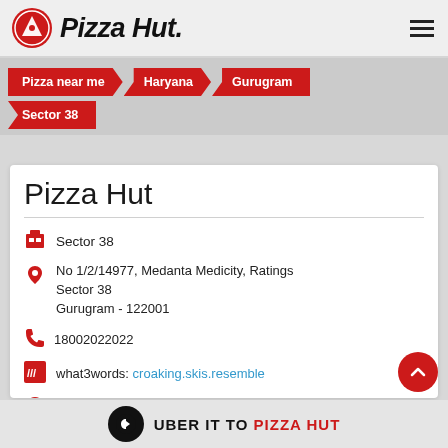[Figure (logo): Pizza Hut logo with red circle and brand name in black italic text]
Pizza near me
Haryana
Gurugram
Sector 38
Pizza Hut
Sector 38
No 1/2/14977, Medanta Medicity, Ratings Sector 38 Gurugram - 122001
18002022022
what3words: croaking.skis.resemble
Open until 11:00 PM   OPEN NOW
fssai 10817005000139
UBER IT TO PIZZA HUT